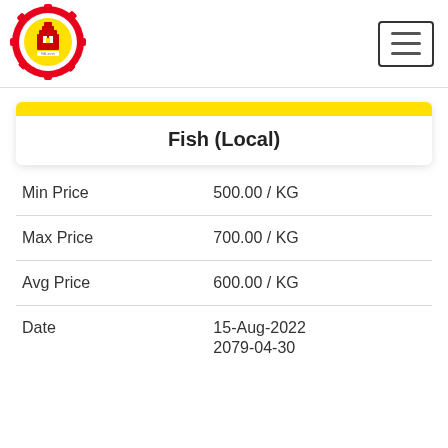[Figure (logo): Circular government/municipal logo with red gear border, yellow and white background, text in Nepali script, and building/gear imagery in the center]
Fish (Local)
| Min Price | 500.00 / KG |
| Max Price | 700.00 / KG |
| Avg Price | 600.00 / KG |
| Date | 15-Aug-2022
2079-04-30 |